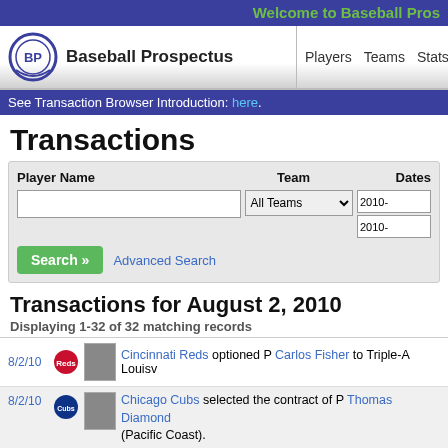Welcome to Baseball Pros
[Figure (logo): Baseball Prospectus logo with BP circle icon]
Players  Teams  Stats  Blogs
See Transaction Browser Introduction: here.
Transactions
Player Name  Team  Dates  All Teams  2010-  2010-  Search »  Advanced Search
Transactions for August 2, 2010
Displaying 1-32 of 32 matching records
8/2/10  Cincinnati Reds optioned P Carlos Fisher to Triple-A Louisv
8/2/10  Chicago Cubs selected the contract of P Thomas Diamond (Pacific Coast).